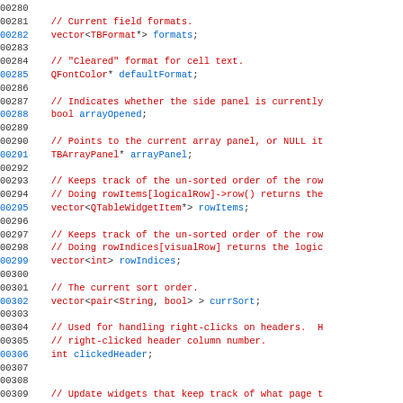[Figure (screenshot): Source code listing showing C++ class member variable declarations with line numbers 00280-00310. Line numbers in dark gray on left, comments in red, keywords in red, identifiers in blue.]